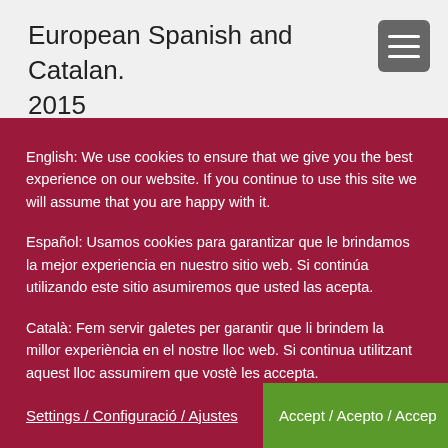European Spanish and Catalan.
2015
English: We use cookies to ensure that we give you the best experience on our website. If you continue to use this site we will assume that you are happy with it.
Español: Usamos cookies para garantizar que le brindamos la mejor experiencia en nuestro sitio web. Si continúa utilizando este sitio asumiremos que usted las acepta.
Català: Fem servir galetes per garantir que li brindem la millor experiència en el nostre lloc web. Si continua utilitzant aquest lloc assumirem que vostè les accepta.
Settings / Configuració / Ajustes
Accept / Acepto / Accep